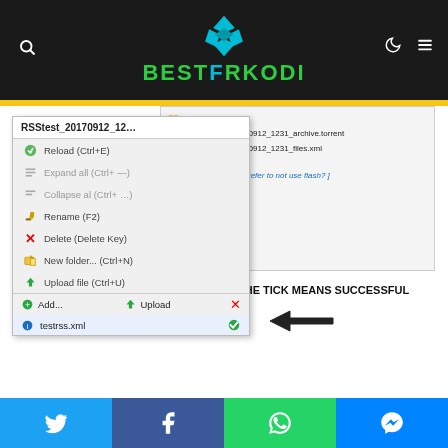[Figure (screenshot): BestForKodi website header with Kodi logo (blue diamond shape) and green text BESTFORKODI on dark background]
[Figure (screenshot): File manager context menu showing options: Reload, Expand all, Collapse all, Rename, Delete, New folder, Upload file, Add/Upload buttons, and testrss.xml file with green tick indicating successful upload]
THE TICK MEANS SUCCESSFUL
[Figure (other): Black arrow pointing left toward the green tick on testrss.xml]
[Figure (other): Footer social sharing bar with Twitter, Facebook, WhatsApp, and Messenger buttons]